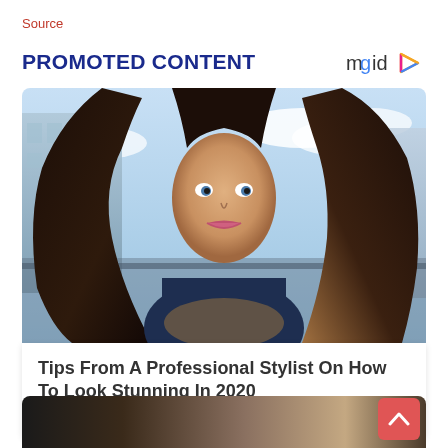Source
PROMOTED CONTENT
[Figure (logo): mgid logo with play button icon]
[Figure (photo): A young woman with long dark brown hair posing outdoors with city buildings and cloudy sky in the background, wearing a dark blue outfit]
Tips From A Professional Stylist On How To Look Stunning In 2020
Herbeauty
[Figure (photo): Partial view of a second article card showing a woman with styled hair, partially cut off at bottom of page]